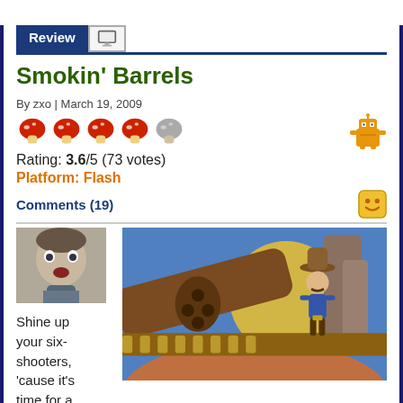Review
Smokin' Barrels
By zxo | March 19, 2009
[Figure (illustration): Rating mushroom icons: 4 red mushrooms and 1 grey mushroom indicating 3.6/5 rating]
Rating: 3.6/5 (73 votes)
Platform: Flash
Comments (19)
[Figure (photo): Avatar photo of a young man with a surprised expression]
Shine up your six-shooters, 'cause it's time for a
[Figure (screenshot): Screenshot of the game Smokin' Barrels showing a cartoon cowboy character in a western desert setting with a large revolver in the foreground]